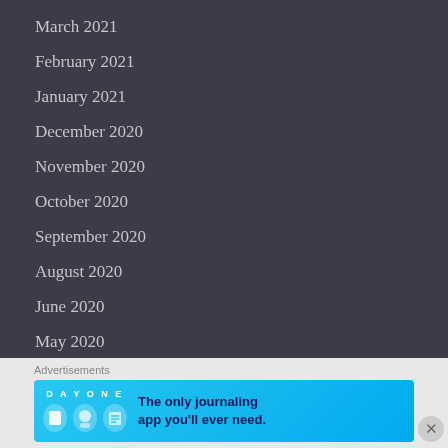March 2021
February 2021
January 2021
December 2020
November 2020
October 2020
September 2020
August 2020
June 2020
May 2020
April 2020
[Figure (infographic): Day One journaling app advertisement banner with blue background, app icons, and text 'The only journaling app you'll ever need.']